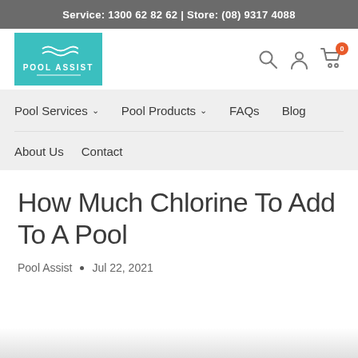Service: 1300 62 82 62 | Store: (08) 9317 4088
[Figure (logo): Pool Assist teal logo box with white text and underline]
[Figure (infographic): Search, user account, and shopping cart (0 items) icons]
Pool Services ∨   Pool Products ∨   FAQs   Blog
About Us   Contact
How Much Chlorine To Add To A Pool
Pool Assist • Jul 22, 2021